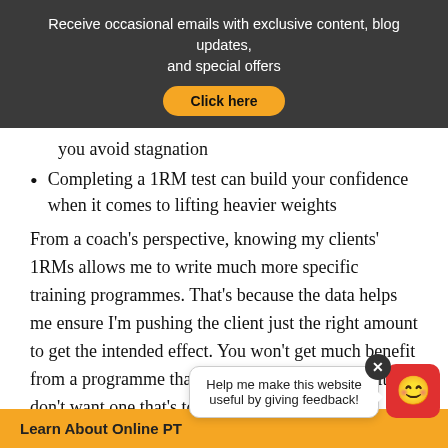Receive occasional emails with exclusive content, blog updates, and special offers
you avoid stagnation
Completing a 1RM test can build your confidence when it comes to lifting heavier weights
From a coach's perspective, knowing my clients' 1RMs allows me to write much more specific training programmes. That's because the data helps me ensure I'm pushing the client just the right amount to get the intended effect. You won't get much benefit from a programme that's too easy, and you definitely don't want one that's too tough!
Help me make this website useful by giving feedback!
Learn About Online PT